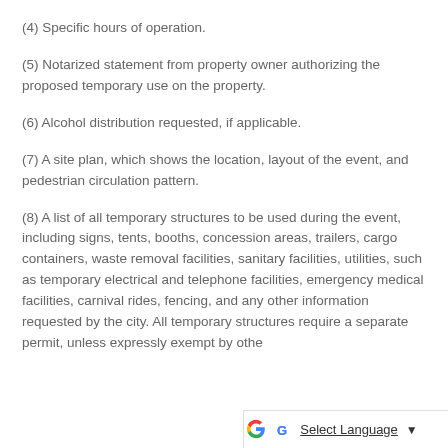(4) Specific hours of operation.
(5) Notarized statement from property owner authorizing the proposed temporary use on the property.
(6) Alcohol distribution requested, if applicable.
(7) A site plan, which shows the location, layout of the event, and pedestrian circulation pattern.
(8) A list of all temporary structures to be used during the event, including signs, tents, booths, concession areas, trailers, cargo containers, waste removal facilities, sanitary facilities, utilities, such as temporary electrical and telephone facilities, emergency medical facilities, carnival rides, fencing, and any other information requested by the city. All temporary structures require a separate permit, unless expressly exempt by othe